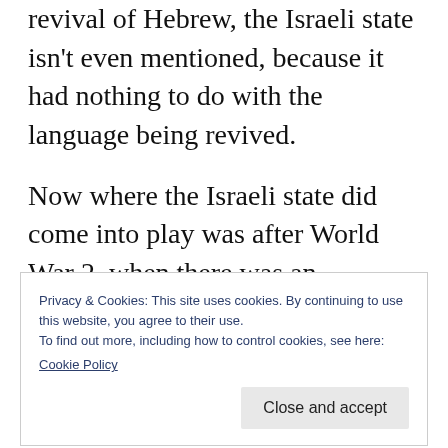revival of Hebrew, the Israeli state isn't even mentioned, because it had nothing to do with the language being revived.
Now where the Israeli state did come into play was after World War 2, when there was an enormous surge of Jews emigrating to the new state, for obvious reasons. Israel was terrified that having revived Hebrew, the language would be swamped by an influx of non-Hebrew
Privacy & Cookies: This site uses cookies. By continuing to use this website, you agree to their use.
To find out more, including how to control cookies, see here:
Cookie Policy
ensure that the new immigrants spoke